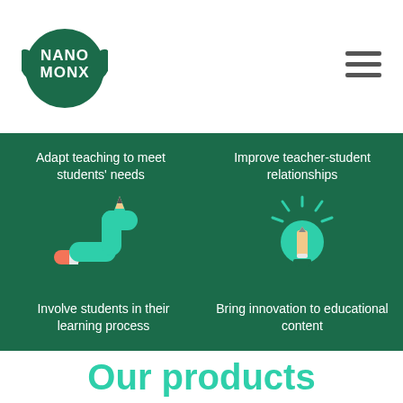[Figure (logo): NanoMonx logo: green circle with NANO MONX text in white and TM mark, with leaf/hand shapes on sides]
[Figure (other): Hamburger menu icon (three horizontal lines)]
Adapt teaching to meet students' needs
Improve teacher-student relationships
[Figure (illustration): Green worm/snake shaped like a pencil with eraser tip, winding in an S-shape, orange eraser end at bottom-left]
[Figure (illustration): Light bulb icon with a pencil inside, green bulb with teal rays emanating from top]
Involve students in their learning process
Bring innovation to educational content
Our products